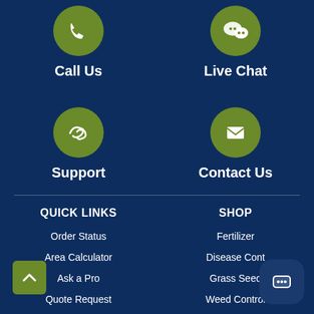[Figure (other): Green circle icon with phone/call symbol]
Call Us
[Figure (other): Green circle icon with chat bubble symbol]
Live Chat
[Figure (other): Green circle icon with support/hands symbol]
Support
[Figure (other): Green circle icon with envelope/email symbol]
Contact Us
QUICK LINKS
SHOP
Order Status
Fertilizer
Area Calculator
Disease Cont
Ask a Pro
Grass Seed
Quote Request
Weed Control